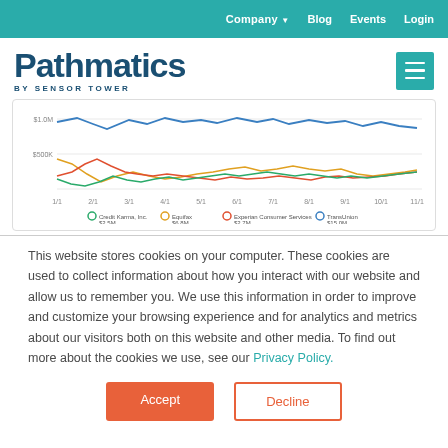Company ▼  Blog  Events  Login
Pathmatics BY SENSOR TOWER
[Figure (line-chart): Line chart showing ad spend over time for Credit Karma Inc., Equifax, Experian Consumer Services, and TransUnion. Y-axis shows values at $1.0M and $500K, X-axis shows months 1/1 through 12/1. Four colored lines: blue (TransUnion ~$15.0M), green (Credit Karma ~$2.5M), orange (Equifax ~$6.8M), red (Experian Consumer Services ~$2.7M).]
This website stores cookies on your computer. These cookies are used to collect information about how you interact with our website and allow us to remember you. We use this information in order to improve and customize your browsing experience and for analytics and metrics about our visitors both on this website and other media. To find out more about the cookies we use, see our Privacy Policy.
Accept
Decline